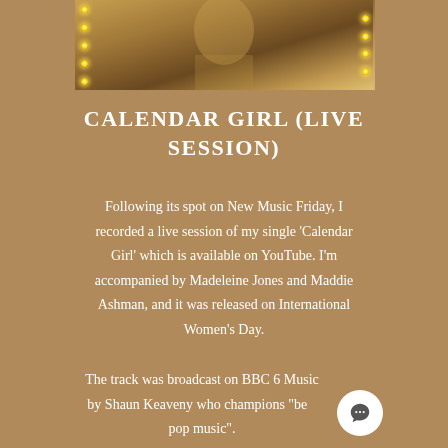[Figure (photo): Photo of a performer on stage with warm golden lighting and stage lights visible on the sides]
CALENDAR GIRL (LIVE SESSION)
Following its spot on New Music Friday, I recorded a live session of my single 'Calendar Girl' which is available on YouTube. I'm accompanied by Madeleine Jones and Maddie Ashman, and it was released on International Women's Day.
The track was broadcast on BBC 6 Music by Shaun Keaveny who champions "be... pop music".